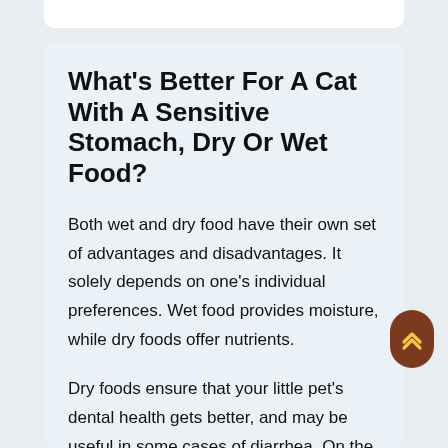What's Better For A Cat With A Sensitive Stomach, Dry Or Wet Food?
Both wet and dry food have their own set of advantages and disadvantages. It solely depends on one's individual preferences. Wet food provides moisture, while dry foods offer nutrients.
Dry foods ensure that your little pet's dental health gets better, and may be useful in some cases of diarrhea. On the